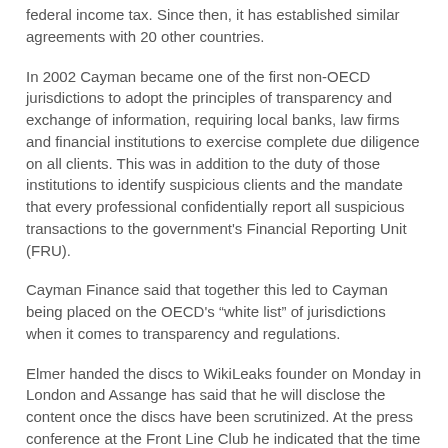federal income tax. Since then, it has established similar agreements with 20 other countries.
In 2002 Cayman became one of the first non-OECD jurisdictions to adopt the principles of transparency and exchange of information, requiring local banks, law firms and financial institutions to exercise complete due diligence on all clients. This was in addition to the duty of those institutions to identify suspicious clients and the mandate that every professional confidentially report all suspicious transactions to the government's Financial Reporting Unit (FRU).
Cayman Finance said that together this led to Cayman being placed on the OECD's "white list" of jurisdictions when it comes to transparency and regulations.
Elmer handed the discs to WikiLeaks founder on Monday in London and Assange has said that he will disclose the content once the discs have been scrutinized. At the press conference at the Front Line Club he indicated that the time it would take to vet the material would depend on the volume of information and how it was delegated. The Tax Justice Network is one of the groups that might be asked to help in the vetting process, he added.
John Christensen, former economic adviser to Jersey and now director of the Tax Justice Network, on e of the groups TRavers has called the 'Tax Taliban' told the BBC that Elmer had felt he had no alternative but to go to